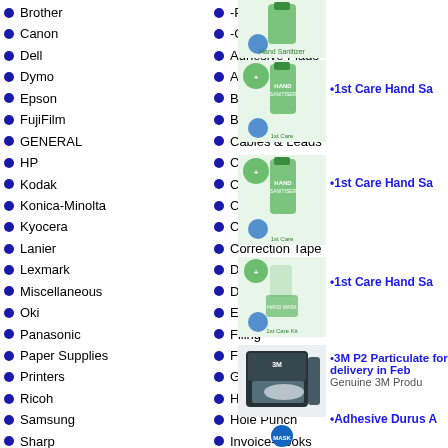Brother
-Printers
Canon
-On Special
Dell
Adhesive Flags
Dymo
Adhesive Notes
Epson
Batteries
FujiFilm
Binding
GENERAL
Cables & Leads
HP
Calculators
Kodak
Carbon-Books
Konica-Minolta
Chairs
Kyocera
Clips
Lanier
Correction Tape
Lexmark
Data Cartridges
Miscellaneous
Dividers
Oki
Envelopes
Panasonic
Filing
Paper Supplies
Furniture
Printers
Guillotines/Tri...
Ricoh
Highlighters
Samsung
Hole Punch
Sharp
Invoice-Books
Shredders
Label Printers
Technology
Labels-InkJet
Toshiba
Labels-Laser
covid-19
Labels-PTouch
Weekly Specials
Labels-Dymo
What's hot this
Laminating
[Figure (photo): Hand sanitizer bottle product image]
[Figure (photo): Hand sanitizer bottle product image 2]
[Figure (photo): Hand sanitizer bottle product image 3]
[Figure (photo): Hand sanitizer bottle product image 4]
[Figure (photo): 3M P2 Particulate mask box]
[Figure (photo): Please wear a face mask circular sign]
[Figure (photo): Antibacterial wipes product]
1st Care Hand Sa
1st Care Hand Sa
1st Care Hand Sa
3M P2 Particulate for delivery in Feb Genuine 3M Produ
Adhesive Durus A
Antibacterial Wip